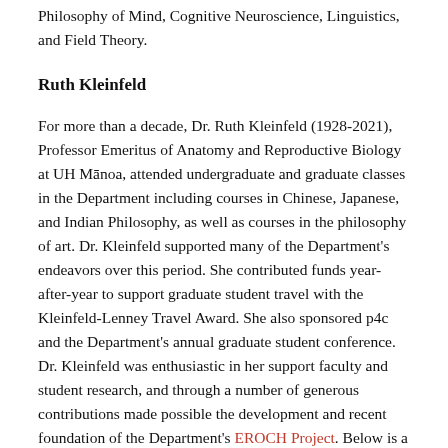Philosophy of Mind, Cognitive Neuroscience, Linguistics, and Field Theory.
Ruth Kleinfeld
For more than a decade, Dr. Ruth Kleinfeld (1928-2021), Professor Emeritus of Anatomy and Reproductive Biology at UH Mānoa, attended undergraduate and graduate classes in the Department including courses in Chinese, Japanese, and Indian Philosophy, as well as courses in the philosophy of art. Dr. Kleinfeld supported many of the Department's endeavors over this period. She contributed funds year-after-year to support graduate student travel with the Kleinfeld-Lenney Travel Award. She also sponsored p4c and the Department's annual graduate student conference. Dr. Kleinfeld was enthusiastic in her support faculty and student research, and through a number of generous contributions made possible the development and recent foundation of the Department's EROCH Project. Below is a